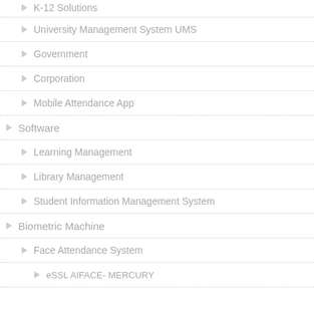K-12 Solutions
University Management System UMS
Government
Corporation
Mobile Attendance App
Software
Learning Management
Library Management
Student Information Management System
Biometric Machine
Face Attendance System
eSSL AIFACE- MERCURY